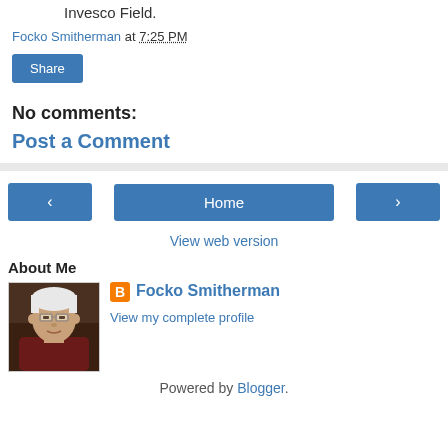Invesco Field.
Focko Smitherman at 7:25 PM
Share
No comments:
Post a Comment
< Home >
View web version
About Me
[Figure (photo): Profile photo of an elderly man with white hair and glasses wearing a dark red shirt]
Focko Smitherman
View my complete profile
Powered by Blogger.